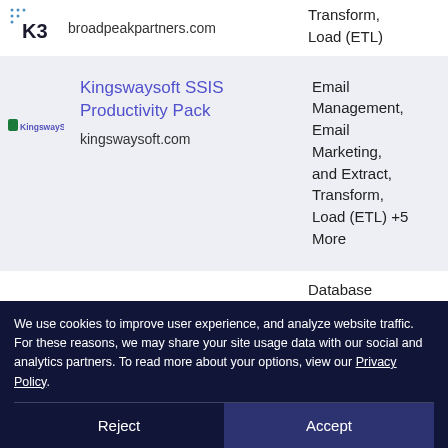[Figure (logo): K3 logo with dot pattern]
broadpeakpartners.com
Transform, Load (ETL)
[Figure (logo): KingswaySoft logo]
Kingswaysoft SSIS Productivity Pack
kingswaysoft.com
Email Management, Email Marketing, and Extract, Transform, Load (ETL) +5 More
Database
[Figure (other): Chat button icon]
We use cookies to improve user experience, and analyze website traffic. For these reasons, we may share your site usage data with our social and analytics partners. To read more about your options, view our Privacy Policy.
Reject
Accept